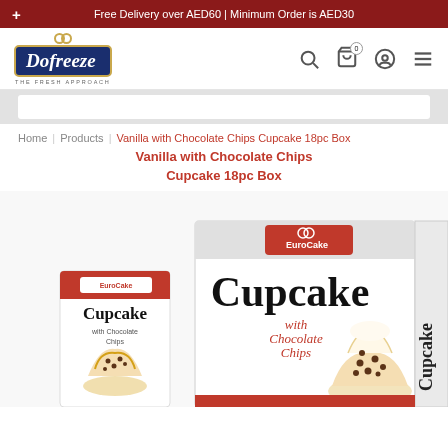Free Delivery over AED60 | Minimum Order is AED30
[Figure (logo): Dofreeze logo - The Fresh Approach]
Home | Products | Vanilla with Chocolate Chips Cupcake 18pc Box
Vanilla with Chocolate Chips Cupcake 18pc Box
[Figure (photo): EuroCake Cupcake with Chocolate Chips product boxes - individual pack and 18pc box displayed together]